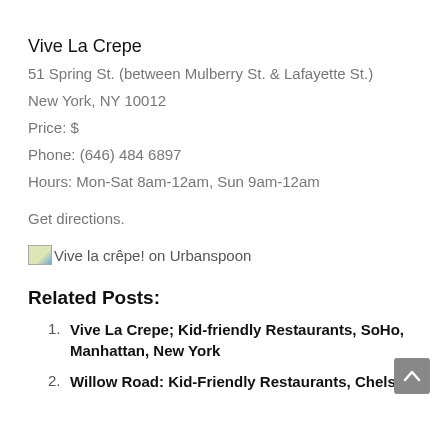… (partial page header)
Vive La Crepe
51 Spring St. (between Mulberry St. & Lafayette St.)
New York, NY 10012
Price: $
Phone: (646) 484 6897
Hours: Mon-Sat 8am-12am, Sun 9am-12am
Get directions.
[Figure (photo): Vive la crêpe! on Urbanspoon badge/image with broken image icon and text]
Related Posts:
Vive La Crepe; Kid-friendly Restaurants, SoHo, Manhattan, New York
Willow Road: Kid-Friendly Restaurants, Chelsea,